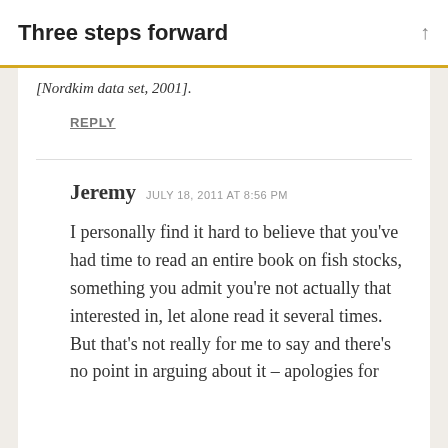Three steps forward
[Nordkim data set, 2001].
REPLY
Jeremy   JULY 18, 2011 AT 8:56 PM
I personally find it hard to believe that you've had time to read an entire book on fish stocks, something you admit you're not actually that interested in, let alone read it several times. But that's not really for me to say and there's no point in arguing about it – apologies for